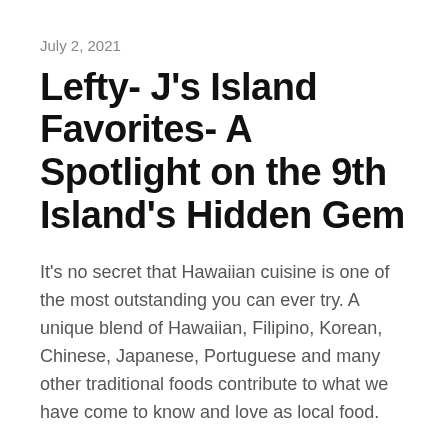July 2, 2021
Lefty- J's Island Favorites- A Spotlight on the 9th Island's Hidden Gem
It's no secret that Hawaiian cuisine is one of the most outstanding you can ever try. A unique blend of Hawaiian, Filipino, Korean, Chinese, Japanese, Portuguese and many other traditional foods contribute to what we have come to know and love as local food.
Las Vegas is one of the few lucky spots